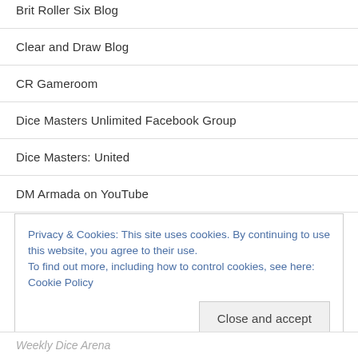Brit Roller Six Blog
Clear and Draw Blog
CR Gameroom
Dice Masters Unlimited Facebook Group
Dice Masters: United
DM Armada on YouTube
Reddit Dice Masters
Privacy & Cookies: This site uses cookies. By continuing to use this website, you agree to their use.
To find out more, including how to control cookies, see here: Cookie Policy
Weekly Dice Arena